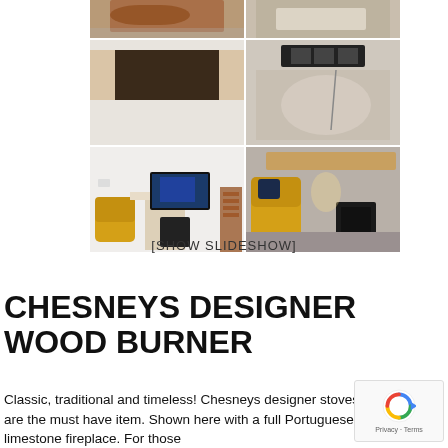[Figure (photo): Grid of 6 construction/interior photos showing fireplace installation process and finished room with wood burner, yellow armchairs, and TV]
[SHOW SLIDESHOW]
CHESNEYS DESIGNER WOOD BURNER
Classic, traditional and timeless! Chesneys designer stoves are the must have item. Shown here with a full Portuguese limestone fireplace. For those
[Figure (logo): Google reCAPTCHA badge with Privacy and Terms links]